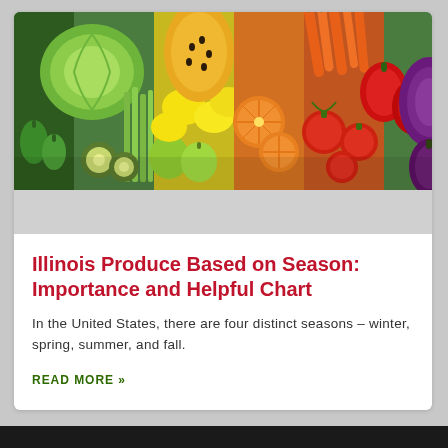[Figure (photo): Colorful array of fresh fruits and vegetables arranged in a rainbow pattern from green on the left (cabbage, peppers, celery, kiwi) through yellow (lemons, squash, papaya) to orange and red (tomatoes, bell peppers, carrots) and purple (cabbage, eggplant) on the right.]
Illinois Produce Based on Season: Importance and Helpful Chart
In the United States, there are four distinct seasons – winter, spring, summer, and fall.
READ MORE »